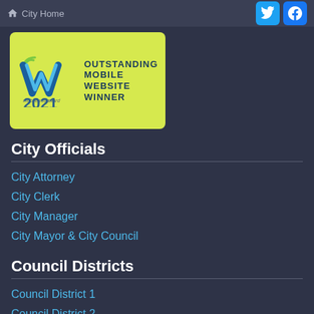City Home
[Figure (logo): Mobile Web Award 2021 - Outstanding Mobile Website Winner badge on yellow-green background]
City Officials
City Attorney
City Clerk
City Manager
City Mayor & City Council
Council Districts
Council District 1
Council District 2